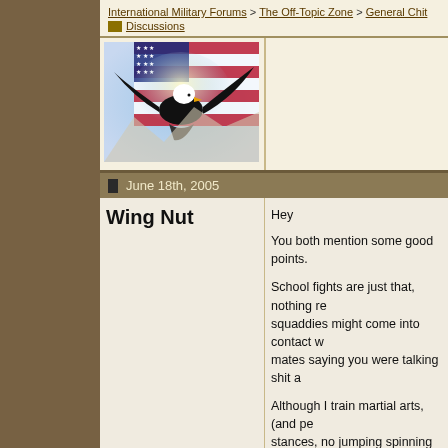International Military Forums > The Off-Topic Zone > General Chit Discussions
[Figure (photo): Bald eagle flying in front of an American flag illustration]
June 18th, 2005
Wing Nut
Hey

You both mention some good points.

School fights are just that, nothing re... squaddies might come into contact w... mates saying you were talking shit a...

Although I train martial arts, (and pe... stances, no jumping spinning twirling... am finding that mind set is more imp... determination to beat the person/pe...

I also find that most martial arts clas... disadvantage when he or she fights ... death).